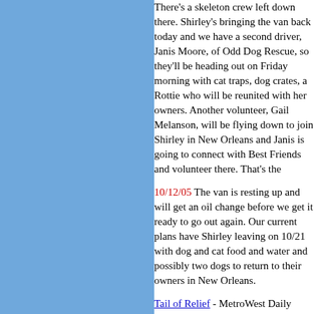There's a skeleton crew left down there. Shirley's bringing the van back today and we have a second driver, Janis Moore, of Odd Dog Rescue, so they'll be heading out on Friday morning with cat traps, dog crates, a Rottie who will be reunited with her owners. Another volunteer, Gail Melanson, will be flying down to join Shirley in New Orleans and Janis is going to connect with Best Friends and volunteer there. That's the
10/12/05 The van is resting up and will get an oil change before we get it ready to go out again. Our current plans have Shirley leaving on 10/21 with dog and cat food and water and possibly two dogs to return to their owners in New Orleans.
Tail of Relief - MetroWest Daily News (Oct 13...
10/11/05 Two volunteers who Shirley met on CraigsList flew back with Marlene's
[Figure (photo): Two women posing for a photo, one wearing a green cap and vest, the other in a pink shirt holding a cat]